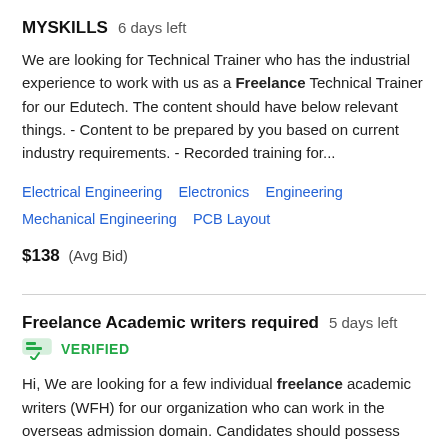MYSKILLS  6 days left
We are looking for Technical Trainer who has the industrial experience to work with us as a Freelance Technical Trainer for our Edutech. The content should have below relevant things. - Content to be prepared by you based on current industry requirements. - Recorded training for...
Electrical Engineering   Electronics   Engineering   Mechanical Engineering   PCB Layout
$138  (Avg Bid)
Freelance Academic writers required  5 days left
VERIFIED
Hi, We are looking for a few individual freelance academic writers (WFH) for our organization who can work in the overseas admission domain. Candidates should possess exceptionally good command over the English language and have good understanding of various international...